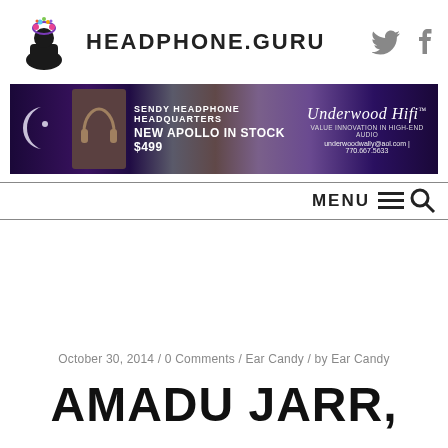HEADPHONE.GURU
[Figure (infographic): Headphone Guru advertisement banner: Sendy Headphone Headquarters, New Apollo in Stock $499, Underwood Hifi, underwoodwally@aol.com | 770.667.5633]
MENU
October 30, 2014 / 0 Comments / Ear Candy / by Ear Candy
AMADU JARR,